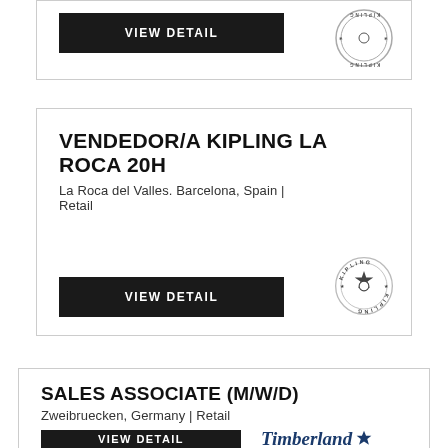[Figure (logo): Kipling circular stamp logo (upside-down, partial card top)]
VIEW DETAIL
VENDEDOR/A KIPLING LA ROCA 20H
La Roca del Valles. Barcelona, Spain | Retail
VIEW DETAIL
[Figure (logo): Kipling circular stamp logo]
SALES ASSOCIATE (M/W/D)
Zweibruecken, Germany | Retail
VIEW DETAIL
[Figure (logo): Timberland brand logo with tree icon]